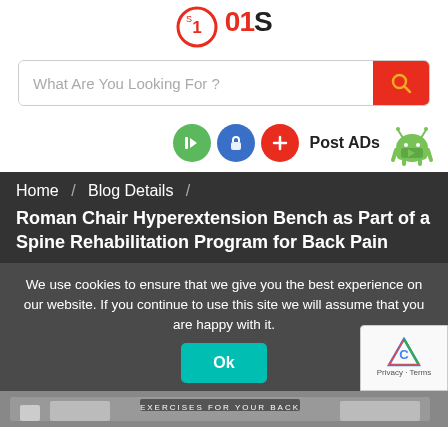[Figure (logo): 01S website logo with circular icon and bold text]
[Figure (screenshot): Search bar with placeholder 'What Are You Looking For ?' and red search button]
[Figure (infographic): Action buttons row: green login button, blue unlock button, red plus button, Post ADs text, Android mascot icon]
Home / Blog Details / Roman Chair Hyperextension Bench as Part of a Spine Rehabilitation Program for Back Pain
We use cookies to ensure that we give you the best experience on our website. If you continue to use this site we will assume that you are happy with it.
[Figure (screenshot): Ok button in teal/green and reCAPTCHA badge]
[Figure (screenshot): Bottom content strip showing exercise for back pain image]